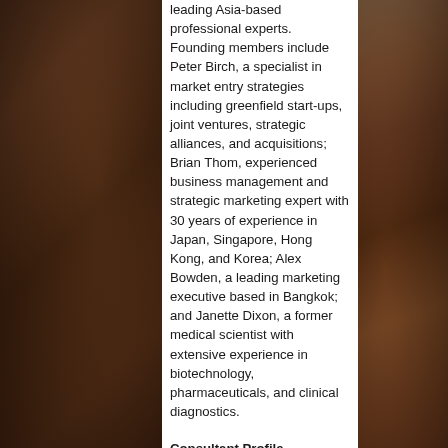[Figure (photo): Photo of a person on the left side of the page, dark tones, partially visible]
leading Asia-based professional experts. Founding members include Peter Birch, a specialist in market entry strategies including greenfield start-ups, joint ventures, strategic alliances, and acquisitions; Brian Thom, experienced business management and strategic marketing expert with 30 years of experience in Japan, Singapore, Hong Kong, and Korea; Alex Bowden, a leading marketing executive based in Bangkok; and Janette Dixon, a former medical scientist with extensive experience in biotechnology, pharmaceuticals, and clinical diagnostics.
Consultant Profile - Consultants range from "grass-roots" level experts all the way through to board members. Featured consultants include a former President of Pepsi Cola Korea and a former Senior
[Figure (photo): Photo on the right side of the page, dark warm tones, partially visible objects including what appears to be a decorative tassel and furniture]